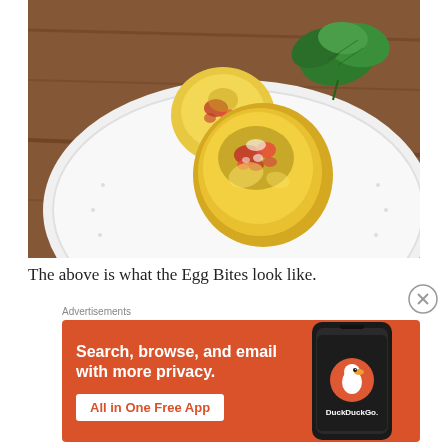[Figure (photo): Photo of egg bites on a white plate with parsley garnish, on a wooden surface. The egg bites are round, yellowish with red/pink filling, arranged on a white decorative plate.]
The above is what the Egg Bites look like.
[Figure (screenshot): DuckDuckGo advertisement on orange background. Text reads: 'Search, browse, and email with more privacy. All in One Free App' with DuckDuckGo logo on a phone mockup.]